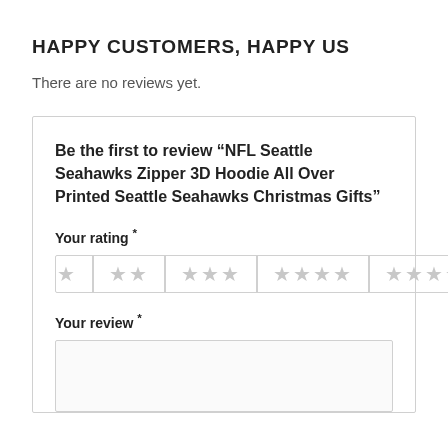HAPPY CUSTOMERS, HAPPY US
There are no reviews yet.
Be the first to review “NFL Seattle Seahawks Zipper 3D Hoodie All Over Printed Seattle Seahawks Christmas Gifts”
Your rating *
Your review *